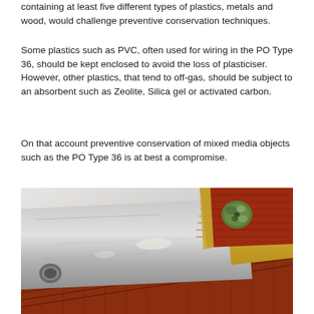containing at least five different types of plastics, metals and wood, would challenge preventive conservation techniques.
Some plastics such as PVC, often used for wiring in the PO Type 36, should be kept enclosed to avoid the loss of plasticiser. However, other plastics, that tend to off-gas, should be subject to an absorbent such as Zeolite, Silica gel or activated carbon.
On that account preventive conservation of mixed media objects such as the PO Type 36 is at best a compromise.
[Figure (photo): Close-up photograph of a corroded metal and plastic component - appears to be part of a PO Type 36 telephone handset clip or bracket, showing a silver metal plate with a hole, a red/brown woven or textured material, and a blue-green corroded metal fastener/rivet on top.]